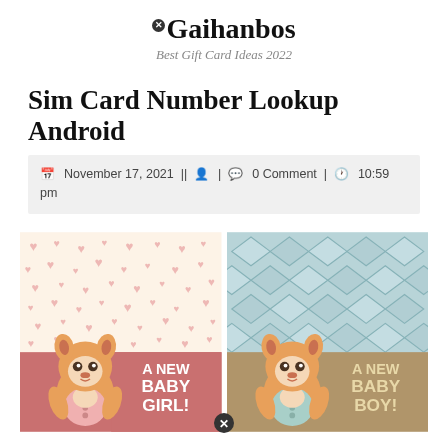Gaihanbos – Best Gift Card Ideas 2022
Sim Card Number Lookup Android
November 17, 2021 || [user icon] | [comment icon] 0 Comment | [clock icon] 10:59 pm
[Figure (illustration): Two baby announcement cards side by side. Left card: pink hearts background, cute fox character, text 'A NEW BABY GIRL!'. Right card: blue diamond pattern background, cute fox character, text 'A NEW BABY BOY!'.]